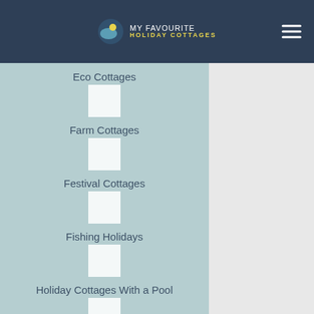[Figure (logo): My Favourite Holiday Cottages logo with navigation header on dark blue background]
Eco Cottages
Farm Cottages
Festival Cottages
Fishing Holidays
Holiday Cottages With a Pool
Independent Cottages
Large Cottage Discounts
Large Holiday Cottages
Luxury Holiday Cottages